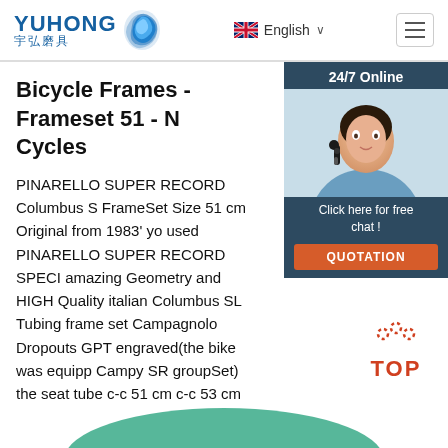YUHONG 宇弘磨具 | English
Bicycle Frames - Frameset 51 - N... Cycles
[Figure (photo): Customer service representative with headset, 24/7 Online chat widget with QUOTATION button]
PINARELLO SUPER RECORD Columbus S FrameSet Size 51 cm Original from 1983' yo used PINARELLO SUPER RECORD SPECI amazing Geometry and HIGH Quality italian Columbus SL Tubing frame set Campagnolo Dropouts GPT engraved(the bike was equipp Campy SR groupSet) the seat tube c-c 51 cm c-c 53 cm you can see …
Get Price
[Figure (illustration): TOP button icon with orange dots and text]